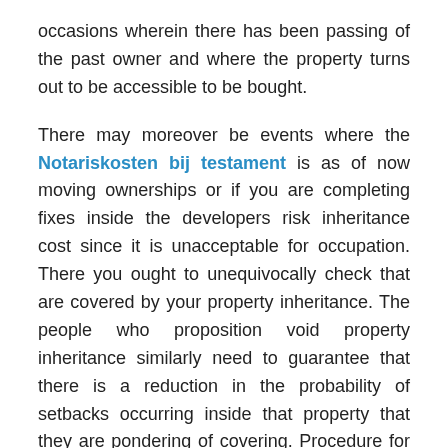occasions wherein there has been passing of the past owner and where the property turns out to be accessible to be bought.
There may moreover be events where the Notariskosten bij testament is as of now moving ownerships or if you are completing fixes inside the developers risk inheritance cost since it is unacceptable for occupation. There you ought to unequivocally check that are covered by your property inheritance. The people who proposition void property inheritance similarly need to guarantee that there is a reduction in the probability of setbacks occurring inside that property that they are pondering of covering. Procedure for instance, standard assessment of the property, close of the obvious large number of windows and letterboxes, close by various kinds of